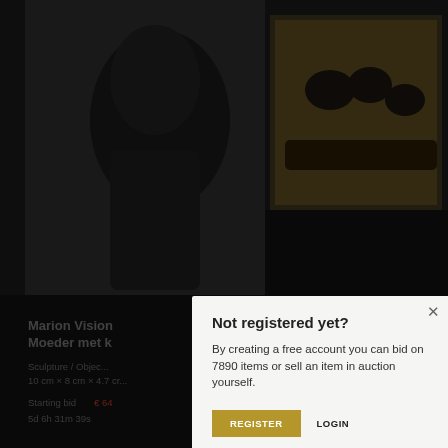[Figure (screenshot): Dimmed auction website background showing two sculpture items with images, titles, metadata, starting bids and countdown timers]
Not registered yet?
By creating a free account you can bid on 7890 items or sell an item in auction yourself.
REGISTER   LOGIN